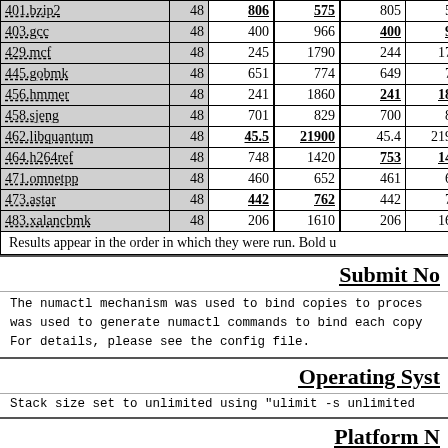| Benchmark | Copies | Seconds | Ratio | Seconds | Ratio | Seconds | Ratio |
| --- | --- | --- | --- | --- | --- | --- | --- |
| 401.bzip2 | 48 | 806 | 575 | 805 | 575 | 821 |  |
| 403.gcc | 48 | 400 | 966 | 400 | 967 | 398 |  |
| 429.mcf | 48 | 245 | 1790 | 244 | 1790 | 245 |  |
| 445.gobmk | 48 | 651 | 774 | 649 | 776 | 651 |  |
| 456.hmmer | 48 | 241 | 1860 | 241 | 1860 | 241 |  |
| 458.sjeng | 48 | 701 | 829 | 700 | 829 | 701 |  |
| 462.libquantum | 48 | 45.5 | 21900 | 45.4 | 21900 | 45.6 | 21 |
| 464.h264ref | 48 | 748 | 1420 | 753 | 1410 | 753 |  |
| 471.omnetpp | 48 | 460 | 652 | 461 | 651 | 461 |  |
| 473.astar | 48 | 442 | 762 | 442 | 762 | 444 |  |
| 483.xalancbmk | 48 | 206 | 1610 | 206 | 1610 | 206 |  |
Results appear in the order in which they were run. Bold u
Submit No
The numactl mechanism was used to bind copies to proces was used to generate numactl commands to bind each cop For details, please see the config file.
Operating Syst
Stack size set to unlimited using "ulimit -s unlimited
Platform N